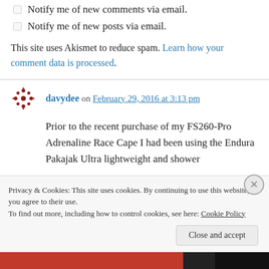Notify me of new comments via email.
Notify me of new posts via email.
This site uses Akismet to reduce spam. Learn how your comment data is processed.
davydee on February 29, 2016 at 3:13 pm
Prior to the recent purchase of my FS260-Pro Adrenaline Race Cape I had been using the Endura Pakajak Ultra lightweight and shower
Privacy & Cookies: This site uses cookies. By continuing to use this website, you agree to their use.
To find out more, including how to control cookies, see here: Cookie Policy
Close and accept